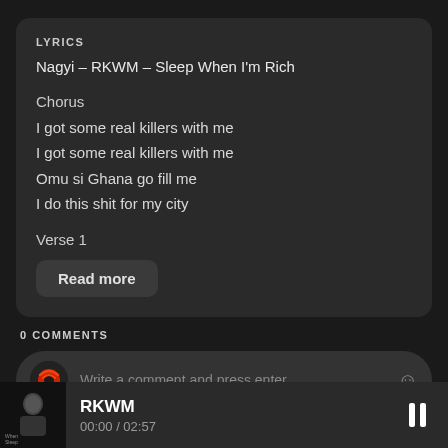LYRICS
Nagyi – RKWM – Sleep When I'm Rich
Chorus
I got some real killers with me
I got some real killers with me
Omu si Ghana go fill me
I do this shit for my city
Verse 1
Read more
0 COMMENTS
Write a comment and press enter
RKWM
00:00 / 02:57